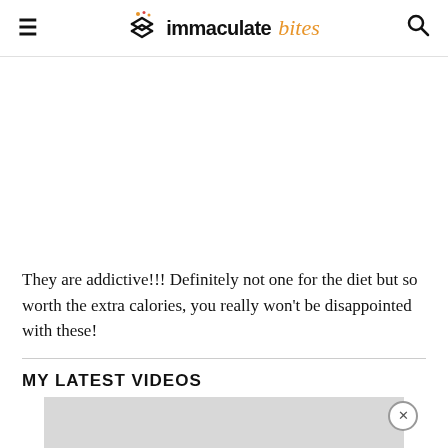immaculate bites
They are addictive!!! Definitely not one for the diet but so worth the extra calories, you really won’t be disappointed with these!
MY LATEST VIDEOS
[Figure (screenshot): Video placeholder / advertisement area (gray rectangle) with close button (X circle) in upper right corner]